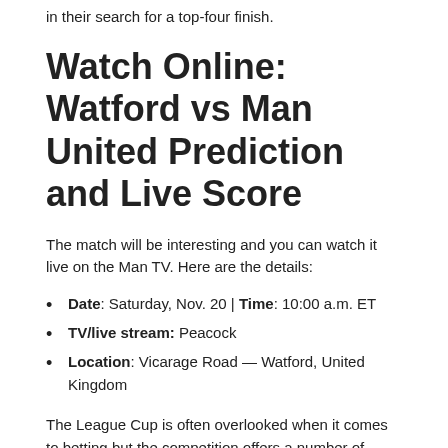This is a huge opportunity for them to pick up vital points in their search for a top-four finish.
Watch Online: Watford vs Man United Prediction and Live Score
The match will be interesting and you can watch it live on the Man TV. Here are the details:
Date: Saturday, Nov. 20 | Time: 10:00 a.m. ET
TV/live stream: Peacock
Location: Vicarage Road — Watford, United Kingdom
The League Cup is often overlooked when it comes to betting but the competition offers a number of opportunities for us. The matchwinner in four of Watford's